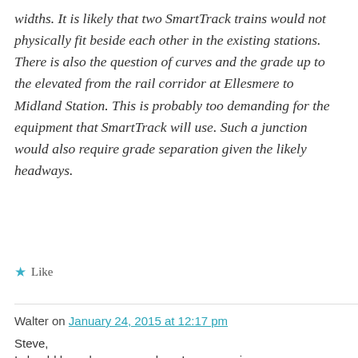widths. It is likely that two SmartTrack trains would not physically fit beside each other in the existing stations. There is also the question of curves and the grade up to the elevated from the rail corridor at Ellesmere to Midland Station. This is probably too demanding for the equipment that SmartTrack will use. Such a junction would also require grade separation given the likely headways.
★ Like
Walter on January 24, 2015 at 12:17 pm
Steve,
I should have been more clear. I was carrying